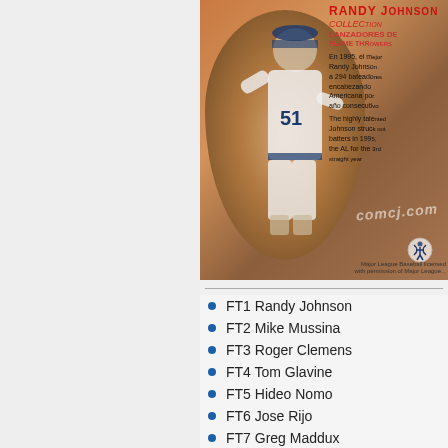[Figure (photo): Baseball trading card back showing Randy Johnson (#51) in white uniform, circular photo inset, with Spanish and English text describing his 1995 season stats, watermark reading comcj.com, orange/brown background]
FT1 Randy Johnson
FT2 Mike Mussina
FT3 Roger Clemens
FT4 Tom Glavine
FT5 Hideo Nomo
FT6 Jose Rijo
FT7 Greg Maddux
FT8 David Cone